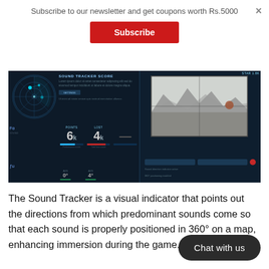Subscribe to our newsletter and get coupons worth Rs.5000
Subscribe
[Figure (screenshot): Game UI screenshot showing a dark-themed interface with a radar/sound tracker on the left panel displaying stats (6 and 4), and a sniper scope view on the right panel with a misty mountainous landscape.]
The Sound Tracker is a visual indicator that points out the directions from which predominant sounds come so that each sound is properly positioned in 360° on a map, enhancing immersion during the game.
Chat with us